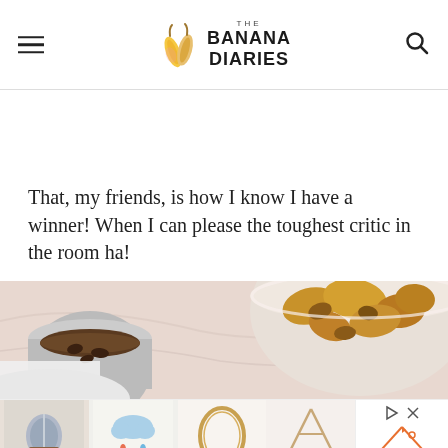THE BANANA DIARIES
That, my friends, is how I know I have a winner! When I can please the toughest critic in the room ha!
[Figure (photo): Food photo showing a bowl of pasta or casserole dish with a dark beverage cup on the left, on a pink marble surface]
[Figure (other): Advertisement banner with product thumbnails: rolled blanket, cloud/rain decoration, gold oval frame, geometric triangle decor, and Tiny Land sponsor logo]